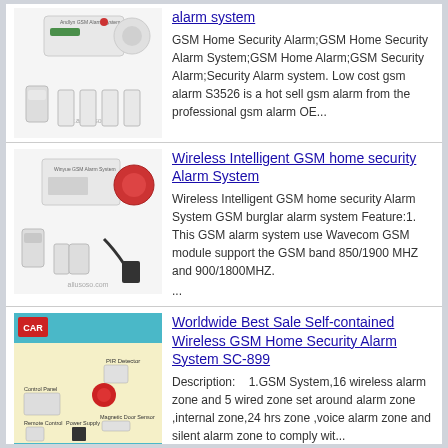[Figure (photo): GSM home security alarm system components: control panel, motion sensors, remote controls, door sensors]
alarm system
GSM Home Security Alarm;GSM Home Security Alarm System;GSM Home Alarm;GSM Security Alarm;Security Alarm system. Low cost gsm alarm S3526 is a hot sell gsm alarm from the professional gsm alarm OE...
[Figure (photo): Wireless Intelligent GSM home security Alarm System components with siren, remote controls, sensors, and charger]
Wireless Intelligent GSM home security Alarm System
Wireless Intelligent GSM home security Alarm System GSM burglar alarm system Feature:1. This GSM alarm system use Wavecom GSM module support the GSM band 850/1900 MHZ and 900/1800MHZ. ...
[Figure (photo): SC-899 Worldwide Best Sale Self-contained Wireless GSM Home Security Alarm System product box showing components: PIR Detector, Control Panel, Magnetic Door Sensor, Remote Control, Power Supply]
Worldwide Best Sale Self-contained Wireless GSM Home Security Alarm System SC-899
Description:    1.GSM System,16 wireless alarm zone and 5 wired zone set around alarm zone ,internal zone,24 hrs zone ,voice alarm zone and silent alarm zone to comply wit...